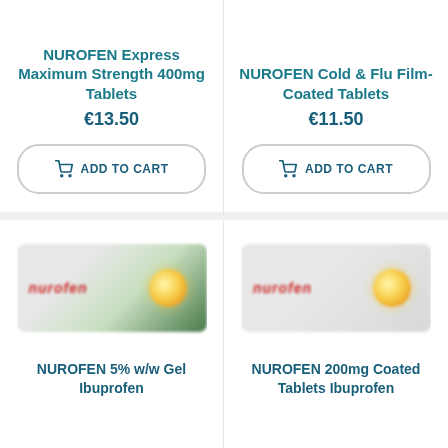NUROFEN Express Maximum Strength 400mg Tablets
€13.50
ADD TO CART
NUROFEN Cold & Flu Film-Coated Tablets
€11.50
ADD TO CART
[Figure (photo): NUROFEN 5% w/w Gel Ibuprofen product packaging — blurred tablet box with red Nurofen logo and green/orange design]
NUROFEN 5% w/w Gel Ibuprofen
[Figure (photo): NUROFEN 200mg Coated Tablets Ibuprofen product packaging — blurred tablet box with red Nurofen logo and sun graphic]
NUROFEN 200mg Coated Tablets Ibuprofen